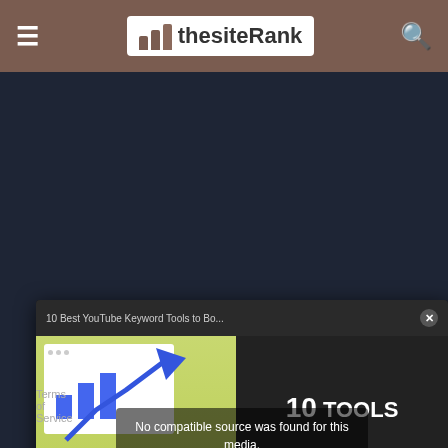thesiteRank — navigation header with hamburger menu, logo, and search icon
[Figure (screenshot): Video popup modal titled '10 Best YouTube Keyword Tools to Bo...' showing a thumbnail with browser mockup, bar chart, arrow graphic, YouTube play button on green background left side, and text '10 TOOLS / RANK HIGHER / ON YOUTUBE' on dark right side. Overlay message reads 'No compatible source was found for this media.']
Terms of Service